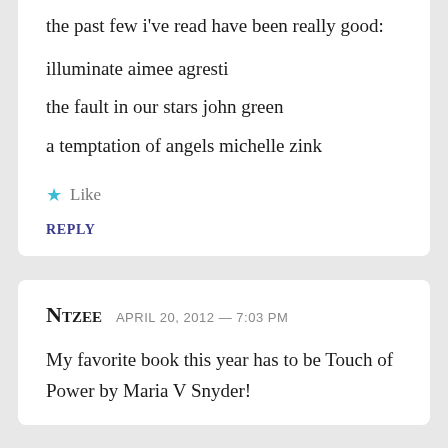the past few i've read have been really good:
illuminate aimee agresti
the fault in our stars john green
a temptation of angels michelle zink
Like
REPLY
Ntzee  April 20, 2012 — 7:03 PM
My favorite book this year has to be Touch of Power by Maria V Snyder!